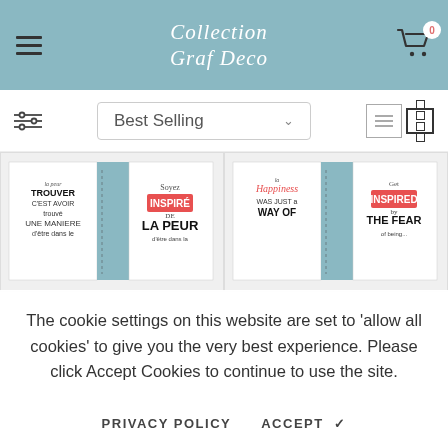Collection Graf Deco - navigation header with logo, hamburger menu, and cart icon
Best Selling
[Figure (screenshot): Two product cards showing SVG design files with French inspirational quote designs on notebooks/journals]
The cookie settings on this website are set to 'allow all cookies' to give you the very best experience. Please click Accept Cookies to continue to use the site.
PRIVACY POLICY   ACCEPT ✓